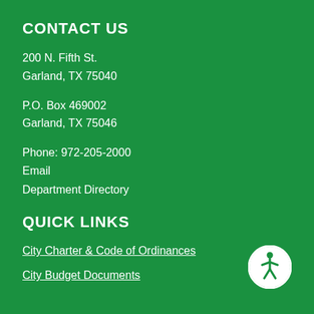CONTACT US
200 N. Fifth St.
Garland, TX 75040
P.O. Box 469002
Garland, TX 75046
Phone: 972-205-2000
Email
Department Directory
QUICK LINKS
City Charter & Code of Ordinances
City Budget Documents
[Figure (illustration): Accessibility icon: circular white ring with a stylized human figure in the center, indicating accessibility options]